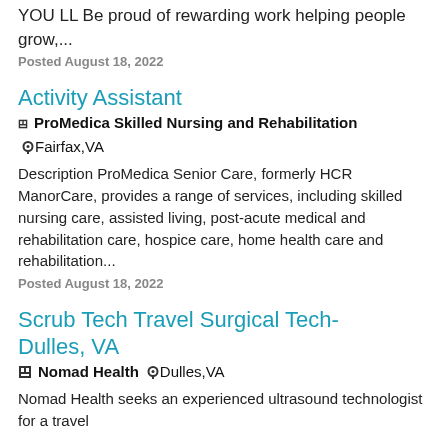YOU LL Be proud of rewarding work helping people grow,...
Posted August 18, 2022
Activity Assistant
ProMedica Skilled Nursing and Rehabilitation   Fairfax,VA
Description ProMedica Senior Care, formerly HCR ManorCare, provides a range of services, including skilled nursing care, assisted living, post-acute medical and rehabilitation care, hospice care, home health care and rehabilitation...
Posted August 18, 2022
Scrub Tech Travel Surgical Tech- Dulles, VA
Nomad Health   Dulles,VA
Nomad Health seeks an experienced ultrasound technologist for a travel